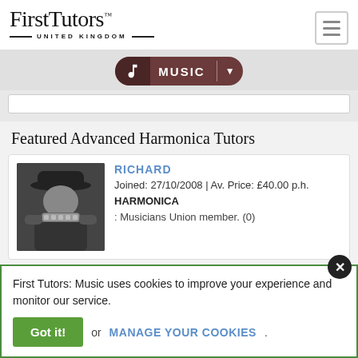[Figure (logo): First Tutors United Kingdom logo with serif font and hamburger menu button]
[Figure (screenshot): Music navigation pill button with music note icon and dropdown arrow]
Featured Advanced Harmonica Tutors
[Figure (photo): Black and white photo of a man playing harmonica wearing a cowboy hat]
RICHARD
Joined: 27/10/2008 | Av. Price: £40.00 p.h.
HARMONICA
: Musicians Union member. (0)
First Tutors: Music uses cookies to improve your experience and monitor our service.
Got it! or MANAGE YOUR COOKIES.